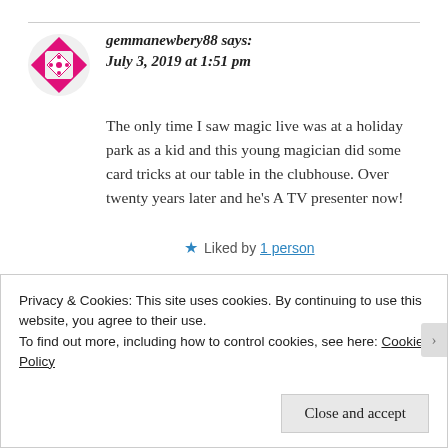gemmanewbery88 says:
July 3, 2019 at 1:51 pm
The only time I saw magic live was at a holiday park as a kid and this young magician did some card tricks at our table in the clubhouse. Over twenty years later and he's A TV presenter now!
Liked by 1 person
Privacy & Cookies: This site uses cookies. By continuing to use this website, you agree to their use.
To find out more, including how to control cookies, see here: Cookie Policy